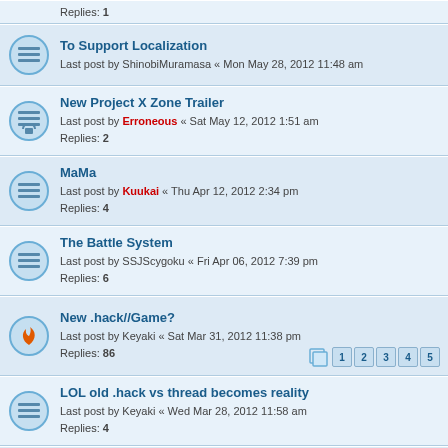Replies: 1
To Support Localization
Last post by ShinobiMuramasa « Mon May 28, 2012 11:48 am
New Project X Zone Trailer
Last post by Erroneous « Sat May 12, 2012 1:51 am
Replies: 2
MaMa
Last post by Kuukai « Thu Apr 12, 2012 2:34 pm
Replies: 4
The Battle System
Last post by SSJScygoku « Fri Apr 06, 2012 7:39 pm
Replies: 6
New .hack//Game?
Last post by Keyaki « Sat Mar 31, 2012 11:38 pm
Replies: 86
Pages: 1 2 3 4 5
LOL old .hack vs thread becomes reality
Last post by Keyaki « Wed Mar 28, 2012 11:58 am
Replies: 4
What if the game..
Last post by Kaori « Wed Mar 21, 2012 10:51 am
Replies: 8
Screw Attack Promoted my Blog Post on CC2 needs our help
Last post by Kaibaman41 « Wed Mar 21, 2012 1:50 am
Anyone see this on Joystiq?
Last post by bidora « Mon Mar 19, 2012 7:43 pm